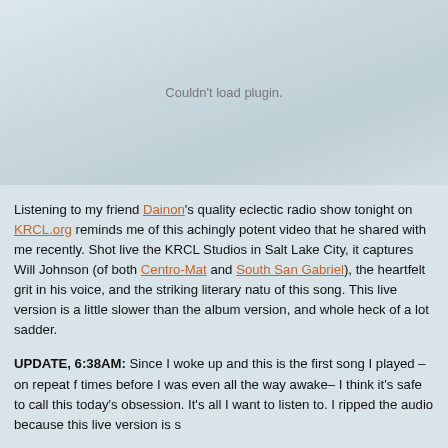[Figure (other): Plugin placeholder area with light blue-grey world map background texture and 'Couldn't load plugin.' message in grey text]
Listening to my friend Dainon's quality eclectic radio show tonight on KRCL.org reminds me of this achingly potent video that he shared with me recently. Shot live the KRCL Studios in Salt Lake City, it captures Will Johnson (of both Centro-Mat and South San Gabriel), the heartfelt grit in his voice, and the striking literary natu of this song. This live version is a little slower than the album version, and whole heck of a lot sadder.
UPDATE, 6:38AM: Since I woke up and this is the first song I played –on repeat f times before I was even all the way awake– I think it's safe to call this today's obsession. It's all I want to listen to. I ripped the audio because this live version is s